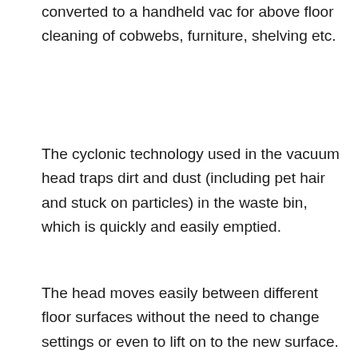converted to a handheld vac for above floor cleaning of cobwebs, furniture, shelving etc.
The cyclonic technology used in the vacuum head traps dirt and dust (including pet hair and stuck on particles) in the waste bin, which is quickly and easily emptied.
The head moves easily between different floor surfaces without the need to change settings or even to lift on to the new surface.